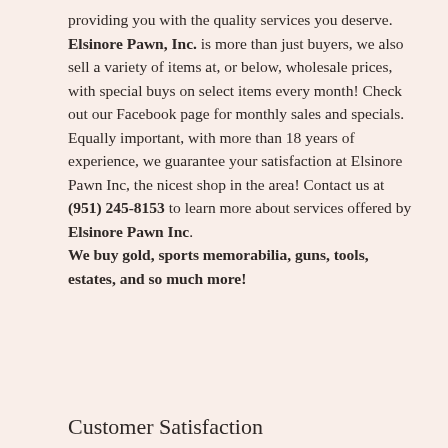providing you with the quality services you deserve. Elsinore Pawn, Inc. is more than just buyers, we also sell a variety of items at, or below, wholesale prices, with special buys on select items every month! Check out our Facebook page for monthly sales and specials. Equally important, with more than 18 years of experience, we guarantee your satisfaction at Elsinore Pawn Inc, the nicest shop in the area! Contact us at (951) 245-8153 to learn more about services offered by Elsinore Pawn Inc. We buy gold, sports memorabilia, guns, tools, estates, and so much more!
Customer Satisfaction